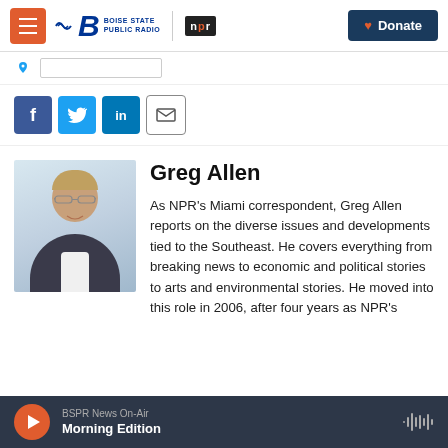Boise State Public Radio | NPR — Donate
[Figure (screenshot): Social sharing buttons: Facebook, Twitter, LinkedIn, Email]
Greg Allen
[Figure (photo): Headshot photo of Greg Allen, a middle-aged man with glasses wearing a dark blazer]
As NPR's Miami correspondent, Greg Allen reports on the diverse issues and developments tied to the Southeast. He covers everything from breaking news to economic and political stories to arts and environmental stories. He moved into this role in 2006, after four years as NPR's
BSPR News On-Air — Morning Edition